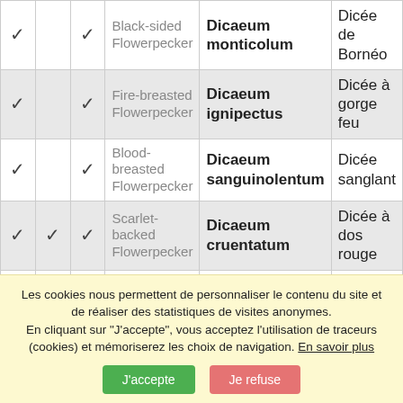| ✓ | ✓ | ✓ | Common Name | Scientific Name | French Name |
| --- | --- | --- | --- | --- | --- |
| ✓ |  | ✓ | Black-sided Flowerpecker | Dicaeum monticolum | Dicée de Bornéo |
| ✓ |  | ✓ | Fire-breasted Flowerpecker | Dicaeum ignipectus | Dicée à gorge feu |
| ✓ |  | ✓ | Blood-breasted Flowerpecker | Dicaeum sanguinolentum | Dicée sanglant |
| ✓ | ✓ | ✓ | Scarlet-backed Flowerpecker | Dicaeum cruentatum | Dicée à dos rouge |
| ✓ |  | ✓ | Scarlet-headed Flowerpecker | Dicaeum trochileum | Dicée à tête écarlate |
Source : IOC World Bird List (v13.2) doi : 10.14344/IOC.ML.13.2
Les cookies nous permettent de personnaliser le contenu du site et de réaliser des statistiques de visites anonymes.
En cliquant sur "J'accepte", vous acceptez l'utilisation de traceurs (cookies) et mémoriserez les choix de navigation. En savoir plus